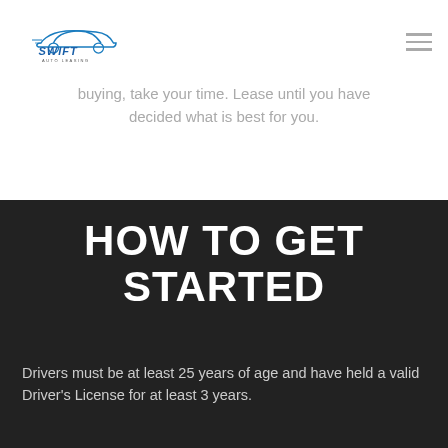[Figure (logo): Swift Auto Leasing logo with a blue car silhouette above the word SWIFT in bold blue stylized text and AUTO LEASING in smaller text below]
buying, take your time. Lease until you have decided what is best for you.
HOW TO GET STARTED
Drivers must be at least 25 years of age and have held a valid Driver's License for at least 3 years.